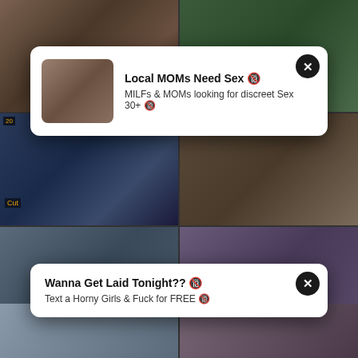[Figure (screenshot): Adult video thumbnail grid with two popup ad overlays. Top-left and top-right cells show video thumbnails. Two white popup ads overlay the top half. Bottom row shows two video thumbnails with dates 2020-10-10, durations 11:44 and 16:26, titled 'Dream Girl Ride on my Big COCK -4K' and 'humiliation dominas'. Bottom two cells show partial video thumbnails.]
Local MOMs Need Sex 🔞
MILFs & MOMs looking for discreet Sex 30+ 🔞
Wanna Get Laid Tonight?? 🔞
Text a Horny Girls & Fuck for FREE 🔞
Dream Girl Ride on my Big COCK -4K
humiliation dominas